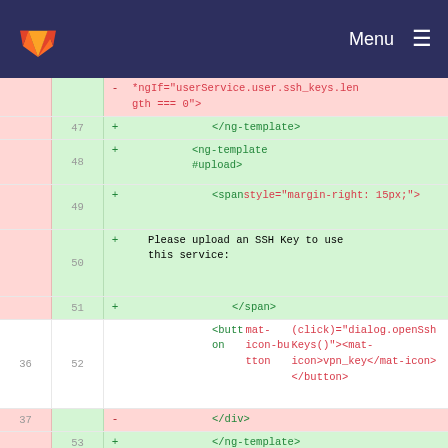GitLab Menu
[Figure (screenshot): Code diff view showing HTML template changes with line numbers. Removed lines highlighted in red, added lines highlighted in green. Contains Angular template syntax with ngIf directive, ng-template tags, span with margin-right style, button with mat-icon-button and dialog.openSshKeys() click handler, and closing tags.]
Imprint